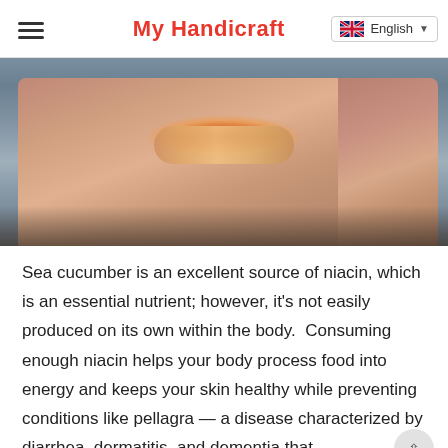My Handicraft
[Figure (photo): Hands holding a sea cucumber, golden-brown with reddish-orange texture on top, being held over a sink or dark surface]
Sea cucumber is an excellent source of niacin, which is an essential nutrient; however, it's not easily produced on its own within the body.  Consuming enough niacin helps your body process food into energy and keeps your skin healthy while preventing conditions like pellagra — a disease characterized by diarrhea, dermatitis, and dementia that